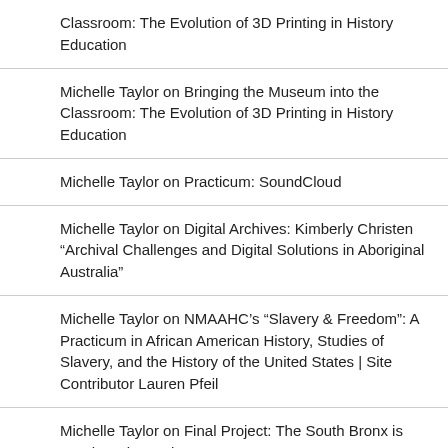Classroom: The Evolution of 3D Printing in History Education
Michelle Taylor on Bringing the Museum into the Classroom: The Evolution of 3D Printing in History Education
Michelle Taylor on Practicum: SoundCloud
Michelle Taylor on Digital Archives: Kimberly Christen “Archival Challenges and Digital Solutions in Aboriginal Australia”
Michelle Taylor on NMAAHC’s “Slavery & Freedom”: A Practicum in African American History, Studies of Slavery, and the History of the United States | Site Contributor Lauren Pfeil
Michelle Taylor on Final Project: The South Bronx is Burning Historypin Tour